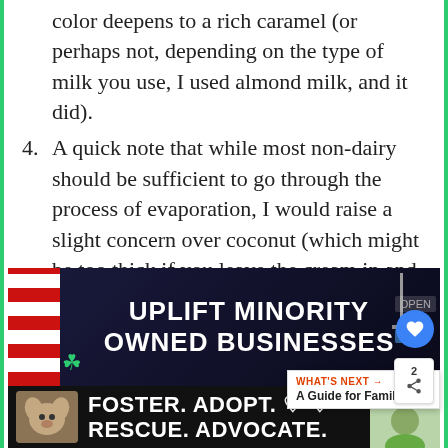color deepens to a rich caramel (or perhaps not, depending on the type of milk you use, I used almond milk, and it did).
4. A quick note that while most non-dairy should be sufficient to go through the process of evaporation, I would raise a slight concern over coconut (which might be too thick if you leave the cream in and too thin without) and rice milk (which might be too thin).
ADVERTISEMENT
[Figure (infographic): Advertisement banner: 'UPLIFT MINORITY OWNED BUSINESSES' with red and white striped left panel on dark navy background]
[Figure (infographic): Bottom advertisement bar: 'FOSTER. ADOPT. RESCUE. ADVOCATE.' with dog image on black background]